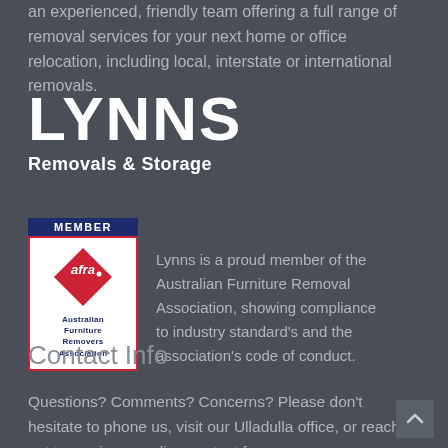an experienced, friendly team offering a full range of removal services for your next home or office relocation, including local, interstate or international removals.
LYNNS Removals & Storage
[Figure (logo): AFRA (Australian Furniture Removers Association) member badge with diamond logo and MEMBER label]
Lynns is a proud member of the Australian Furniture Removal Association, showing compliance to industry standard's and the association's code of conduct.
Contact Info
Questions? Comments? Concerns? Please don't hesitate to phone us, visit our Ulladulla office, or reach out to us via our online contact form.